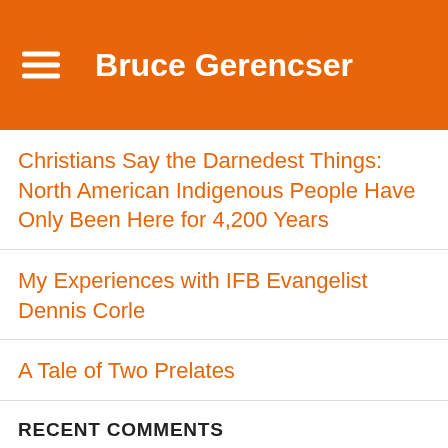Bruce Gerencser
Christians Say the Darnedest Things: North American Indigenous People Have Only Been Here for 4,200 Years
My Experiences with IFB Evangelist Dennis Corle
A Tale of Two Prelates
RECENT COMMENTS
sjl1701 on The Evangelical Reckoning
ObstacleChick on Black Collar Crime: IFB Youth